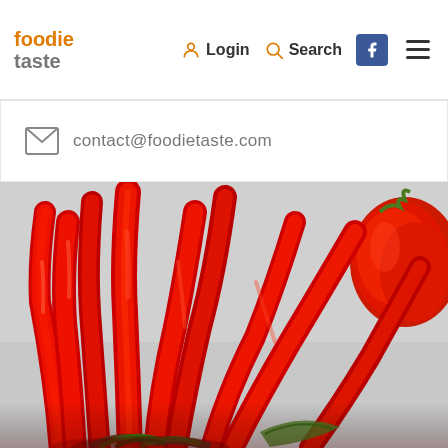foodie taste — Login Search Facebook Menu
contact@foodietaste.com
[Figure (photo): Close-up photo of a bunch of bright red chili peppers bundled together with green stems, and a large red bell pepper visible in the upper right corner, on a light grey background.]